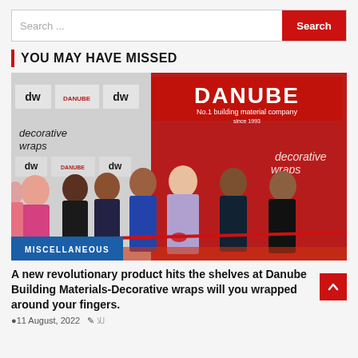Search ...
[Figure (photo): Group of people at a ribbon-cutting ceremony in front of a Danube building materials store with decorative wraps branding. Red ribbon being cut. Blue sky background.]
YOU MAY HAVE MISSED
MISCELLANEOUS
A new revolutionary product hits the shelves at Danube Building Materials-Decorative wraps will you wrapped around your fingers.
11 August, 2022